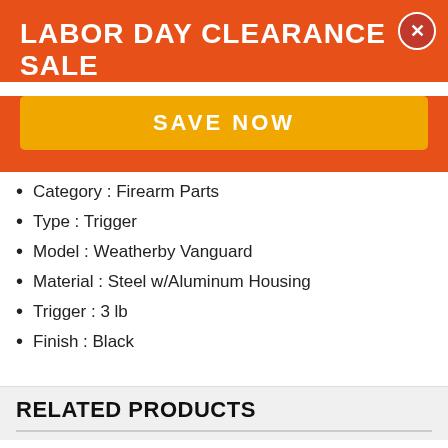LABOR DAY CLEARANCE SALE
SAVE NOW
Category : Firearm Parts
Type : Trigger
Model : Weatherby Vanguard
Material : Steel w/Aluminum Housing
Trigger : 3 lb
Finish : Black
RELATED PRODUCTS
[Figure (photo): Blue firearm trigger part]
[Figure (photo): Gray metal firearm trigger assembly]